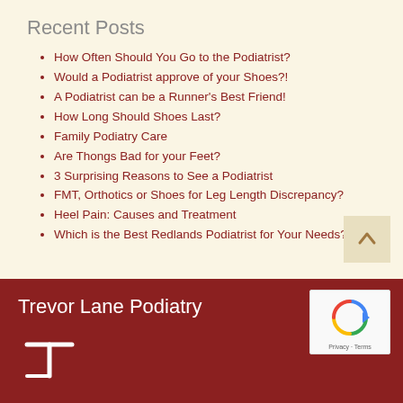Recent Posts
How Often Should You Go to the Podiatrist?
Would a Podiatrist approve of your Shoes?!
A Podiatrist can be a Runner's Best Friend!
How Long Should Shoes Last?
Family Podiatry Care
Are Thongs Bad for your Feet?
3 Surprising Reasons to See a Podiatrist
FMT, Orthotics or Shoes for Leg Length Discrepancy?
Heel Pain: Causes and Treatment
Which is the Best Redlands Podiatrist for Your Needs?
Trevor Lane Podiatry